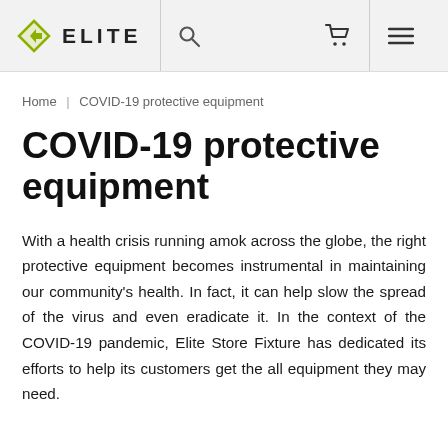ELITE
Home | COVID-19 protective equipment
COVID-19 protective equipment
With a health crisis running amok across the globe, the right protective equipment becomes instrumental in maintaining our community's health. In fact, it can help slow the spread of the virus and even eradicate it. In the context of the COVID-19 pandemic, Elite Store Fixture has dedicated its efforts to help its customers get the all equipment they may need.